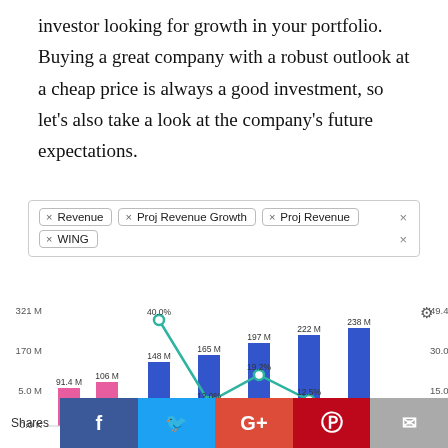investor looking for growth in your portfolio. Buying a great company with a robust outlook at a cheap price is always a good investment, so let's also take a look at the company's future expectations.
[Figure (other): Filter tag selector showing: Revenue, Proj Revenue Growth, Proj Revenue, WING]
[Figure (grouped-bar-chart): Revenue and Projected Revenue Growth for WING]
Shares  Facebook  Twitter  Google+  Pinterest  Email